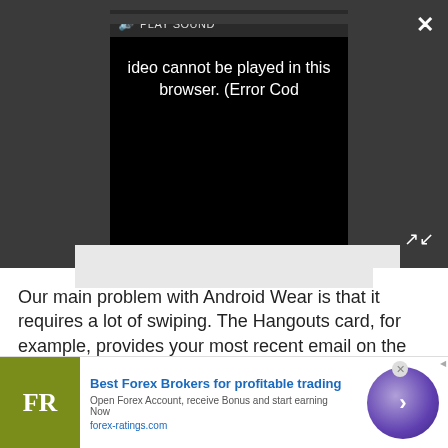[Figure (screenshot): Video player UI with dark gray background showing a video error message 'Video cannot be played in this browser. (Error Cod' with a PLAY SOUND control bar, a close X button top-right, and an expand button bottom-right.]
Our main problem with Android Wear is that it requires a lot of swiping. The Hangouts card, for example, provides your most recent email on the first card, but makes you swipe to the right to see your
[Figure (screenshot): Advertisement banner for forex-ratings.com with FR logo in olive/yellow-green square, text 'Best Forex Brokers for profitable trading', subtext 'Open Forex Account, receive Bonus and start earning Now', URL 'forex-ratings.com', and a purple circle arrow button on the right.]